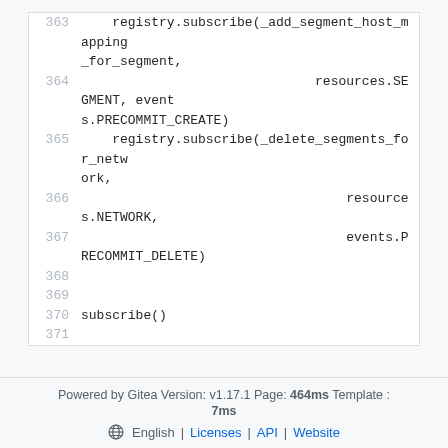363   registry.subscribe(_add_segment_host_mapping_for_segment,
364                               resources.SEGMENT, events.PRECOMMIT_CREATE)
365       registry.subscribe(_delete_segments_for_network,
366                                   resources.NETWORK,
367                                   events.PRECOMMIT_DELETE)
368
369
370   subscribe()
371
Powered by Gitea Version: v1.17.1 Page: 464ms Template : 7ms  English | Licenses | API | Website